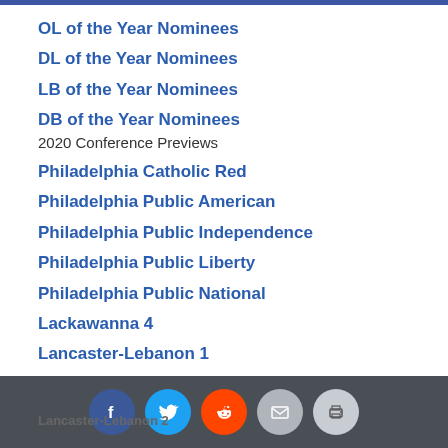OL of the Year Nominees
DL of the Year Nominees
LB of the Year Nominees
DB of the Year Nominees
2020 Conference Previews
Philadelphia Catholic Red
Philadelphia Public American
Philadelphia Public Independence
Philadelphia Public Liberty
Philadelphia Public National
Lackawanna 4
Lancaster-Lebanon 1
Lancaster-Lebanon 2
Social share buttons: Facebook, Twitter, Reddit, Email, Print